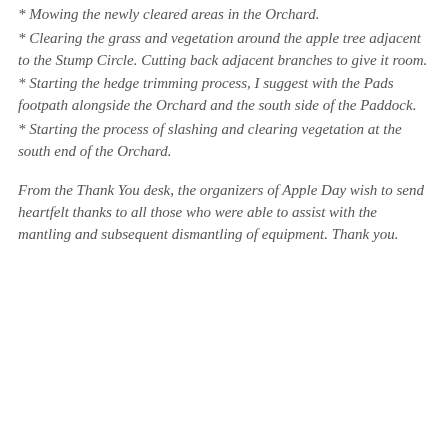* Mowing the newly cleared areas in the Orchard.
* Clearing the grass and vegetation around the apple tree adjacent to the Stump Circle. Cutting back adjacent branches to give it room.
* Starting the hedge trimming process, I suggest with the Pads footpath alongside the Orchard and the south side of the Paddock.
* Starting the process of slashing and clearing vegetation at the south end of the Orchard.
From the Thank You desk, the organizers of Apple Day wish to send heartfelt thanks to all those who were able to assist with the mantling and subsequent dismantling of equipment. Thank you.